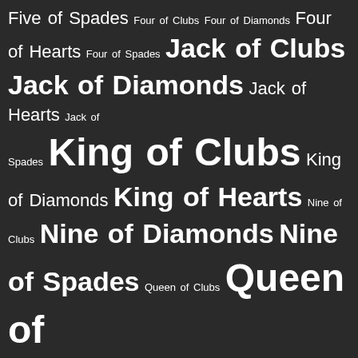Five of Spades Four of Clubs Four of Diamonds Four of Hearts Four of Spades Jack of Clubs Jack of Diamonds Jack of Hearts Jack of Spades King of Clubs King of Diamonds King of Hearts Nine of Clubs Nine of Diamonds Nine of Spades Queen of Clubs Queen of Diamonds Queen of Hearts Seven of Clubs Seven of Hearts Seven of Spades Six of Clubs Six of Diamonds Six of Hearts Six of Spades Ten of Clubs Ten of Hearts Ten of Spades Three of Clubs Three of Diamonds Three of